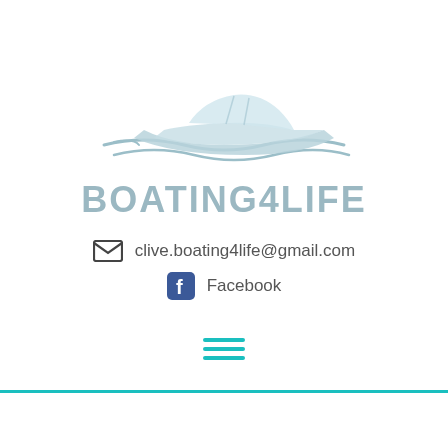[Figure (logo): Boating4Life logo: a light blue speedboat illustration above the text BOATING4LIFE in light blue-grey bold uppercase letters]
clive.boating4life@gmail.com
Facebook